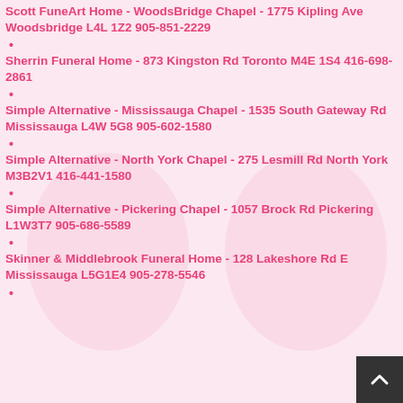Scott FuneArt Home - WoodsBridge Chapel - 1775 Kipling Ave Woodsbridge L4L 1Z2 905-851-2229
Sherrin Funeral Home - 873 Kingston Rd Toronto M4E 1S4 416-698-2861
Simple Alternative - Mississauga Chapel - 1535 South Gateway Rd Mississauga L4W 5G8 905-602-1580
Simple Alternative - North York Chapel - 275 Lesmill Rd North York M3B2V1 416-441-1580
Simple Alternative - Pickering Chapel - 1057 Brock Rd Pickering L1W3T7 905-686-5589
Skinner & Middlebrook Funeral Home - 128 Lakeshore Rd E Mississauga L5G1E4 905-278-5546